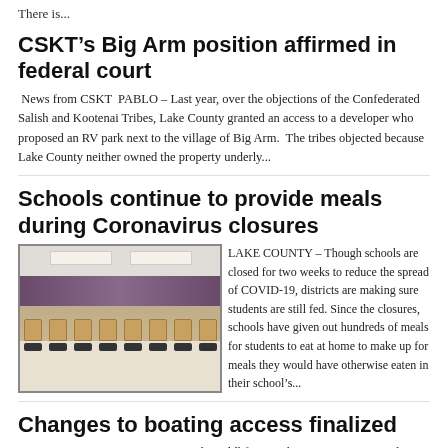There is...
CSKT’s Big Arm position affirmed in federal court
News from CSKT  PABLO – Last year, over the objections of the Confederated Salish and Kootenai Tribes, Lake County granted an access to a developer who proposed an RV park next to the village of Big Arm.  The tribes objected because Lake County neither owned the property underly...
Schools continue to provide meals during Coronavirus closures
[Figure (photo): Interior of a school cafeteria with rows of chairs with brown paper bags placed on them, purple accent wall in background, fluorescent ceiling lights.]
LAKE COUNTY – Though schools are closed for two weeks to reduce the spread of COVID-19, districts are making sure students are still fed. Since the closures, schools have given out hundreds of meals for students to eat at home to make up for meals they would have otherwise eaten in their school’s...
Changes to boating access finalized
FLATHEAD LAKE — Montana Fish, Wildlife & Parks is not renewing its lease with the Montana Department of Natural Resources and Conservation...